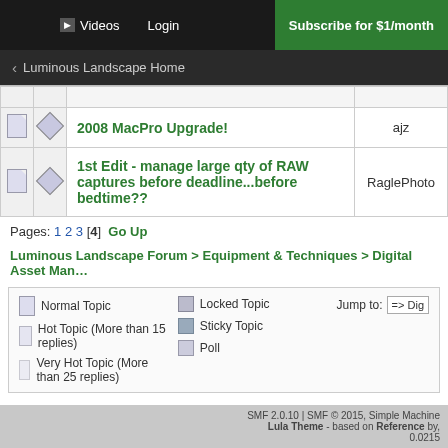Videos  Login  Subscribe for $1/month
< Luminous Landscape Home
|  |  | Topic | Author |
| --- | --- | --- | --- |
|  |  | 2008 MacPro Upgrade! | ajz |
|  |  | 1st Edit - manage large qty of RAW captures before deadline...before bedtime?? | RaglePhoto |
Pages: 1 2 3 [4]  Go Up
Luminous Landscape Forum > Equipment & Techniques > Digital Asset Man...
Normal Topic  Hot Topic (More than 15 replies)  Very Hot Topic (More than 25 replies)  Locked Topic  Sticky Topic  Poll  Jump to: => Dig...
SMF 2.0.10 | SMF © 2015, Simple Machine  Lula Theme - based on Reference by,  0.0215